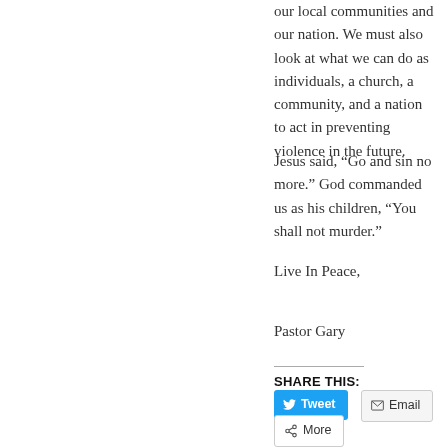our local communities and our nation. We must also look at what we can do as individuals, a church, a community, and a nation to act in preventing violence in the future.
Jesus said, “Go and sin no more.” God commanded us as his children, “You shall not murder.”
Live In Peace,
Pastor Gary
SHARE THIS: